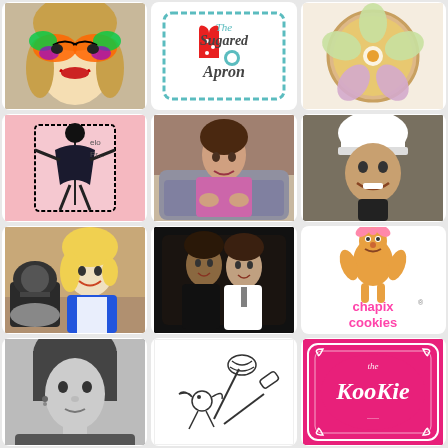[Figure (photo): Young woman with colorful butterfly face paint, smiling]
[Figure (logo): The Sugared Apron logo with red dress and teal border]
[Figure (photo): Decorated cookie in shape of hibiscus flower with pink and green icing]
[Figure (photo): Pop art style illustration with woman figure, pink background]
[Figure (photo): Woman in pink sweater sitting on couch, smiling]
[Figure (photo): Person wearing white chef hat, smiling, dark background]
[Figure (photo): Blonde woman in blue shirt and apron with stand mixer]
[Figure (photo): Couple in formal attire, black and white photo]
[Figure (logo): Chapix Cookies logo with cartoon gingerbread girl character]
[Figure (photo): Black and white portrait of young woman]
[Figure (illustration): Line drawing of whimsical figure with whisk]
[Figure (logo): The Kookie logo in pink decorative frame]